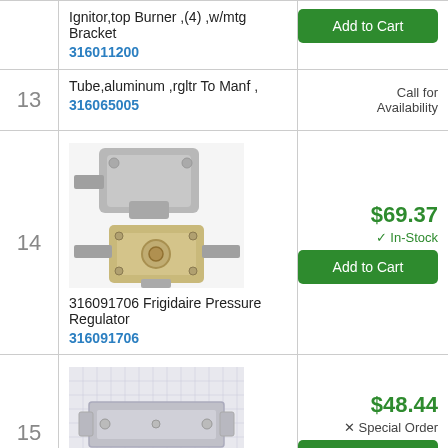| # | Part | Action |
| --- | --- | --- |
|  | Ignitor,top Burner ,(4) ,w/mtg Bracket
316011200 | Add to Cart |
| 13 | Tube,aluminum ,rgltr To Manf ,
316065005 | Call for Availability |
| 14 | 316091706 Frigidaire Pressure Regulator
316091706 | $69.37 In-Stock Add to Cart |
| 15 | Bracket-regulator | $48.44 Special Order Add to Cart |